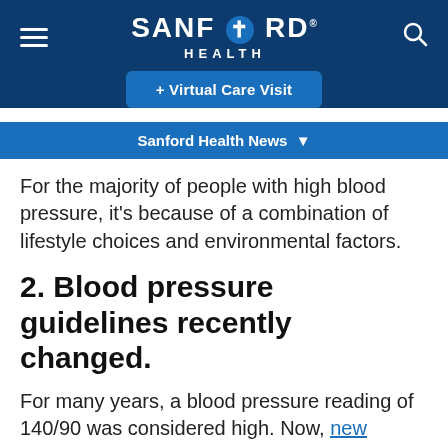SANFORD HEALTH
+ Virtual Care Visit
Sanford Health News
For the majority of people with high blood pressure, it’s because of a combination of lifestyle choices and environmental factors.
2. Blood pressure guidelines recently changed.
For many years, a blood pressure reading of 140/90 was considered high. Now, new guidelines classify 130/80 as the point when